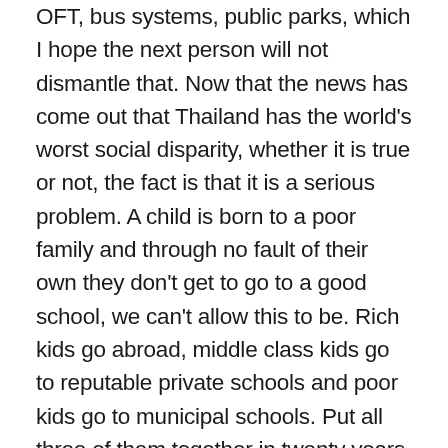OFT, bus systems, public parks, which I hope the next person will not dismantle that. Now that the news has come out that Thailand has the world's worst social disparity, whether it is true or not, the fact is that it is a serious problem. A child is born to a poor family and through no fault of their own they don't get to go to a good school, we can't allow this to be. Rich kids go abroad, middle class kids go to reputable private schools and poor kids go to municipal schools. Put all three of them together in twenty years and you see clearly how the cycle perpetuates itself. There is no comparison as to advantages. It should be that if you work hard, you put in time, you have skills, you should be able to achieve success, but that is not the case here. So we need to make sure that at least the